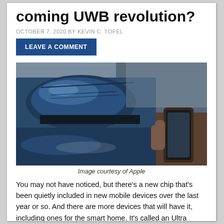coming UWB revolution?
OCTOBER 7, 2020 BY KEVIN C. TOFEL
LEAVE A COMMENT
[Figure (photo): Close-up photo of a dark blue car door mirror/handle area with a hand holding a phone near the door handle, blurred background]
Image courtesy of Apple
You may not have noticed, but there’s a new chip that’s been quietly included in new mobile devices over the last year or so. And there are more devices that will have it, including ones for the smart home. It’s called an Ultra